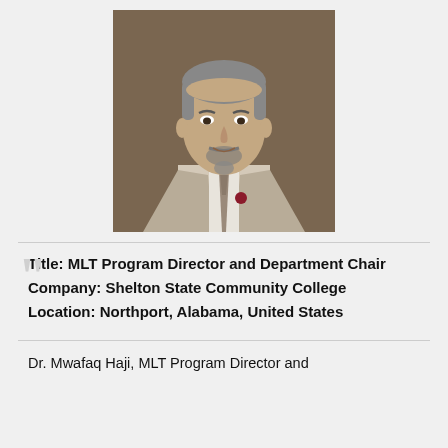[Figure (photo): Professional headshot of a middle-aged man with salt-and-pepper hair and beard, wearing a light gray suit, white shirt, patterned tie, and a dark red lapel pin. Neutral brown/gray background.]
Title: MLT Program Director and Department Chair
Company: Shelton State Community College
Location: Northport, Alabama, United States
Dr. Mwafaq Haji, MLT Program Director and